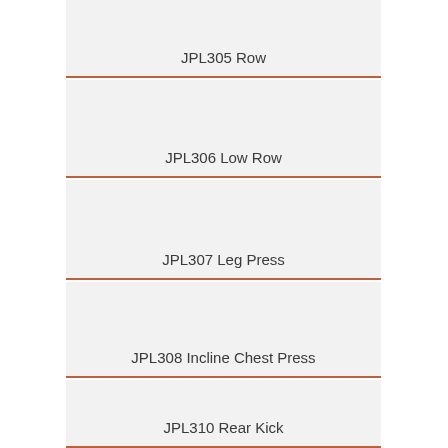JPL305 Row
JPL306 Low Row
JPL307 Leg Press
JPL308 Incline Chest Press
JPL310 Rear Kick
JPL312 Tricep Dip